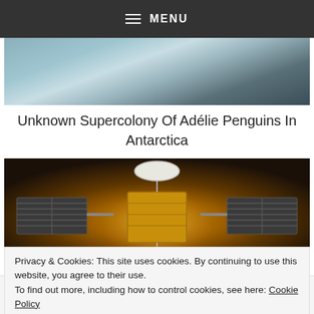MENU
[Figure (photo): Antarctic snowy landscape with a penguin visible]
Unknown Supercolony Of Adélie Penguins In Antarctica
[Figure (photo): A spacecraft/satellite with large solar panels against a golden-brown background]
Privacy & Cookies: This site uses cookies. By continuing to use this website, you agree to their use.
To find out more, including how to control cookies, see here: Cookie Policy
Save Up to 65%